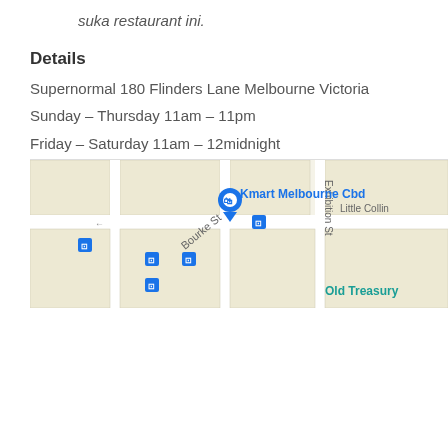suka restaurant ini.
Details
Supernormal 180 Flinders Lane Melbourne Victoria
Sunday – Thursday 11am – 11pm
Friday – Saturday 11am – 12midnight
Instagram:
https://www.instagram.com/supernormal_180/
No pork on the menu. Halal meat used (staff confirmation) but check as some items are not halal (eg buns in a couple of the bao/dumplings use lard). Alcohol served.
[Figure (map): Google Maps showing area around Kmart Melbourne CBD, with Bourke St and Little Collins St visible, Old Treasury label, and blue location markers.]